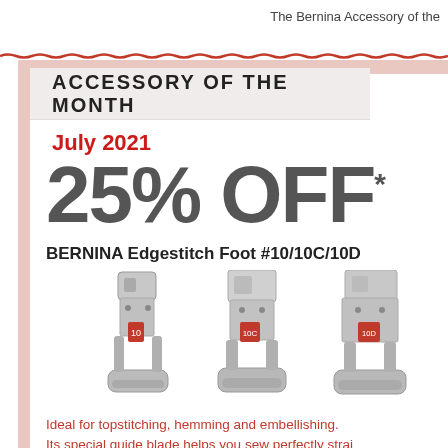The Bernina Accessory of the
ACCESSORY OF THE MONTH
July 2021
25% OFF*
BERNINA Edgestitch Foot #10/10C/10D
[Figure (photo): Three BERNINA Edgestitch Feet (#10, #10C, #10D) shown side by side, silver metal sewing machine presser feet with red guide markings]
Ideal for topstitching, hemming and embellishing. Its special guide blade helps you sew perfectly strai